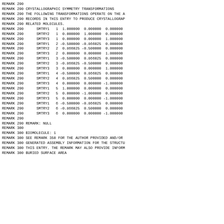REMARK 290
REMARK 290 CRYSTALLOGRAPHIC SYMMETRY TRANSFORMATIONS
REMARK 290 THE FOLLOWING TRANSFORMATIONS OPERATE ON THE A
REMARK 290 RECORDS IN THIS ENTRY TO PRODUCE CRYSTALLOGRAP
REMARK 290 RELATED MOLECULES.
REMARK 290      SMTRY1   1  1.000000  0.000000  0.000000
REMARK 290      SMTRY2   1  0.000000  1.000000  0.000000
REMARK 290      SMTRY3   1  0.000000  0.000000  1.000000
REMARK 290      SMTRY1   2 -0.500000 -0.866025  0.000000
REMARK 290      SMTRY2   2  0.866025 -0.500000  0.000000
REMARK 290      SMTRY3   2  0.000000  0.000000  1.000000
REMARK 290      SMTRY1   3 -0.500000  0.866025  0.000000
REMARK 290      SMTRY2   3 -0.866025 -0.500000  0.000000
REMARK 290      SMTRY3   3  0.000000  0.000000  1.000000
REMARK 290      SMTRY1   4 -0.500000  0.866025  0.000000
REMARK 290      SMTRY2   4  0.866025  0.500000  0.000000
REMARK 290      SMTRY3   4  0.000000  0.000000 -1.000000
REMARK 290      SMTRY1   5  1.000000  0.000000  0.000000
REMARK 290      SMTRY2   5  0.000000 -1.000000  0.000000
REMARK 290      SMTRY3   5  0.000000  0.000000 -1.000000
REMARK 290      SMTRY1   6 -0.500000 -0.866025  0.000000
REMARK 290      SMTRY2   6 -0.866025  0.500000  0.000000
REMARK 290      SMTRY3   6  0.000000  0.000000 -1.000000
REMARK 290
REMARK 290 REMARK: NULL
REMARK 300
REMARK 300 BIOMOLECULE: 1
REMARK 300 SEE REMARK 350 FOR THE AUTHOR PROVIDED AND/OR
REMARK 300 GENERATED ASSEMBLY INFORMATION FOR THE STRUCTU
REMARK 300 THIS ENTRY. THE REMARK MAY ALSO PROVIDE INFORM
REMARK 300 BURIED SURFACE AREA